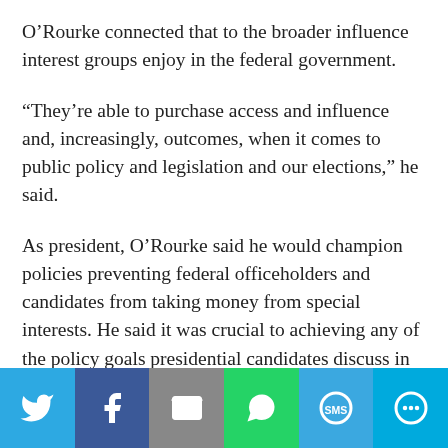O'Rourke connected that to the broader influence interest groups enjoy in the federal government.
“They’re able to purchase access and influence and, increasingly, outcomes, when it comes to public policy and legislation and our elections,” he said.
As president, O’Rourke said he would champion policies preventing federal officeholders and candidates from taking money from special interests. He said it was crucial to achieving any of the policy goals presidential candidates discuss in an effort to make a better nation for its people.
[Figure (infographic): Social media share bar with icons for Twitter, Facebook, Email, WhatsApp, SMS, and More]